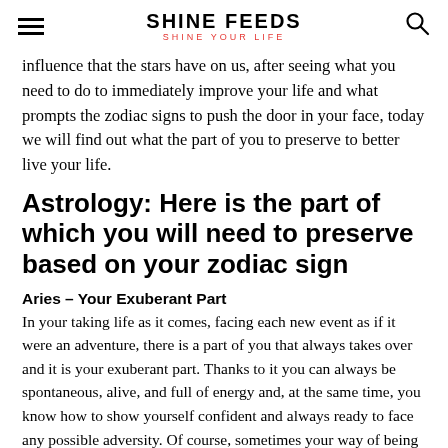SHINE FEEDS — SHINE YOUR LIFE
influence that the stars have on us, after seeing what you need to do to immediately improve your life and what prompts the zodiac signs to push the door in your face, today we will find out what the part of you to preserve to better live your life.
Astrology: Here is the part of which you will need to preserve based on your zodiac sign
Aries – Your Exuberant Part
In your taking life as it comes, facing each new event as if it were an adventure, there is a part of you that always takes over and it is your exuberant part. Thanks to it you can always be spontaneous, alive, and full of energy and, at the same time, you know how to show yourself confident and always ready to face any possible adversity. Of course, sometimes your way of being can be out of place or not to everyone's liking. But giving up would mean turning off and slowly taking away all enthusiasm for life. Even at the cost of banging your head over and over again and having to learn to